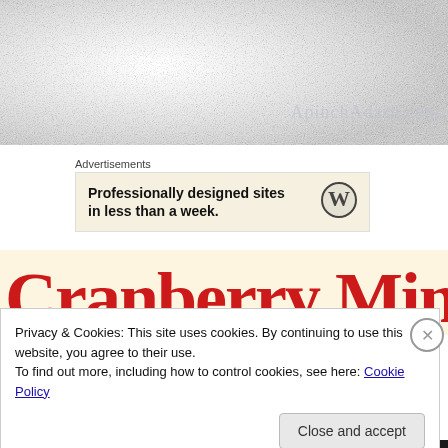[Figure (photo): White fluffy fur texture with a watermark text 'ApinchAdash.com' in light gray script font overlaid on the bottom right]
Advertisements
[Figure (screenshot): WordPress advertisement banner: 'Professionally designed sites in less than a week' with WordPress logo on the right, on a cream background]
[Figure (screenshot): Cranberry Mimosas text in large red cursive script on a cream/yellow background, partially visible]
Privacy & Cookies: This site uses cookies. By continuing to use this website, you agree to their use.
To find out more, including how to control cookies, see here: Cookie Policy
Close and accept